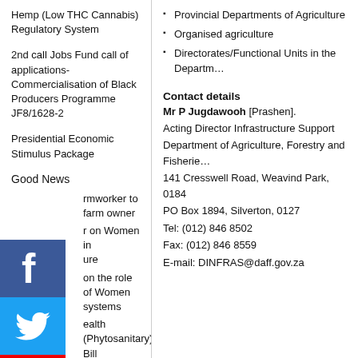Hemp (Low THC Cannabis) Regulatory System
2nd call Jobs Fund call of applications- Commercialisation of Black Producers Programme JF8/1628-2
Presidential Economic Stimulus Package
Good News
...rmworker to farm owner
...r on Women in ...ure
...on the role of Women ...systems
...ealth (Phytosanitary) Bill
...older Horticulture ...erment and Promotion ...me
...'s message for ...
Provincial Departments of Agriculture
Organised agriculture
Directorates/Functional Units in the Department
Contact details
Mr P Jugdawooh [Prashen]. Acting Director Infrastructure Support Department of Agriculture, Forestry and Fisheries 141 Cresswell Road, Weavind Park, 0184 PO Box 1894, Silverton, 0127 Tel: (012) 846 8502 Fax: (012) 846 8559 E-mail: DINFRAS@daff.gov.za